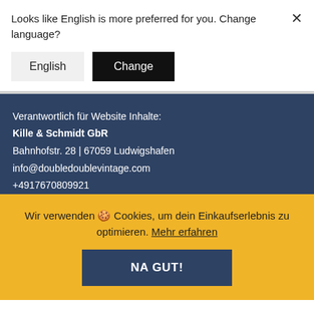Looks like English is more preferred for you. Change language?
English | Change
Verantwortlich für Website Inhalte:
Kille & Schmidt GbR
Bahnhofstr. 28 | 67059 Ludwigshafen
info@doubledoublevintage.com
+4917670809921
Ust. ID: DE320943140
Standorte:
Wir verwenden 🍪 Cookies, um dein Einkaufserlebnis zu optimieren. Mehr erfahren
NA GUT!